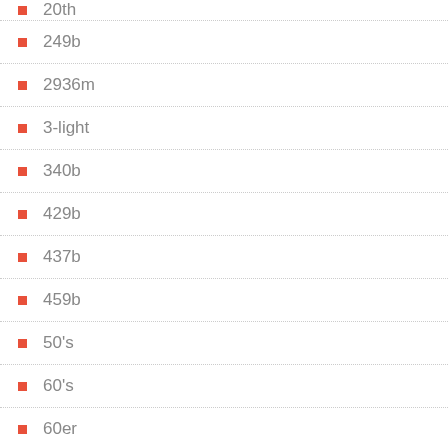20th
249b
2936m
3-light
340b
429b
437b
459b
50's
60's
60er